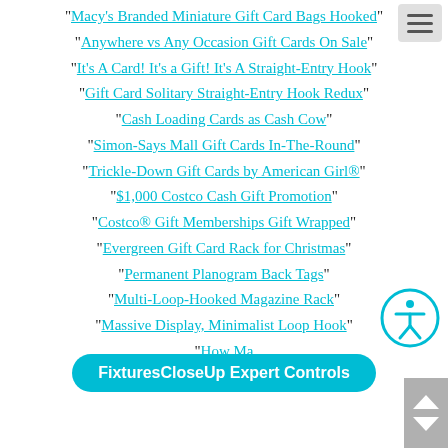“Macy’s Branded Miniature Gift Card Bags Hooked”
“Anywhere vs Any Occasion Gift Cards On Sale”
“It’s A Card! It’s a Gift! It’s A Straight-Entry Hook”
“Gift Card Solitary Straight-Entry Hook Redux”
“Cash Loading Cards as Cash Cow”
“Simon-Says Mall Gift Cards In-The-Round”
“Trickle-Down Gift Cards by American Girl®”
“$1,000 Costco Cash Gift Promotion”
“Costco® Gift Memberships Gift Wrapped”
“Evergreen Gift Card Rack for Christmas”
“Permanent Planogram Back Tags”
“Multi-Loop-Hooked Magazine Rack”
“Massive Display, Minimalist Loop Hook”
“How Ma…”
“Pegboard Holes on Half-Inch Centers”
[Figure (other): Hamburger menu button (three horizontal bars) in top-right corner]
[Figure (other): Accessibility icon (person in circle) on right side]
[Figure (other): Blue pill-shaped banner reading 'FixturesCloseUp Expert Controls']
[Figure (other): Scroll arrows widget at bottom-right corner]